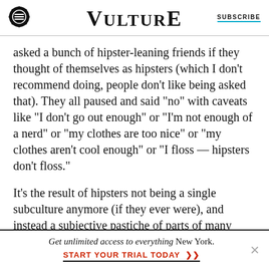VULTURE | SUBSCRIBE
asked a bunch of hipster-leaning friends if they thought of themselves as hipsters (which I don’t recommend doing, people don’t like being asked that). They all paused and said “no” with caveats like “I don’t go out enough” or “I’m not enough of a nerd” or “my clothes are too nice” or “my clothes aren’t cool enough” or “I floss — hipsters don’t floss.”
It’s the result of hipsters not being a single subculture anymore (if they ever were), and instead a subjective pastiche of parts of many subcultures.
Get unlimited access to everything New York. START YOUR TRIAL TODAY »»